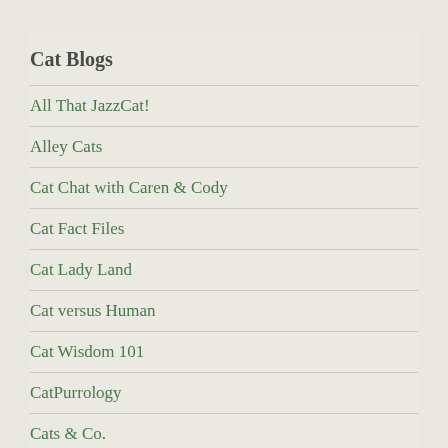Cat Blogs
All That JazzCat!
Alley Cats
Cat Chat with Caren & Cody
Cat Fact Files
Cat Lady Land
Cat versus Human
Cat Wisdom 101
CatPurrology
Cats & Co.
Catself
Catsparella
Catster